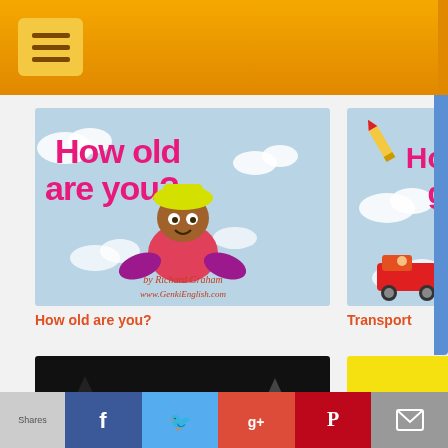GenkiEnglish.com navigation header
[Figure (illustration): Book cover: 'How old are you?' by Richard Graham, www.GenkiEnglish.com. Light blue background with clouds, pink text, cartoon child character with yellow hat.]
How old are you?
[Figure (illustration): Book cover: 'How did you get here?' by Richard Graham, www.GenkiEnglish.com. Light blue background with clouds, airplane, pencil rocket, red bus, red car. Pink/red text. Click here! label.]
Transport
[Figure (illustration): Book cover: 'Happy Halloween' by Richard Graham, www.GenkiEnglish.com. Dark/black background with orange Halloween text, costumed characters, skeleton.]
[Figure (illustration): Book cover: 'Baby Monkey's clothes'. Yellow background with red and green text, cartoon monkey character.]
Shares | Facebook | Twitter | Google+ | Pinterest | Email